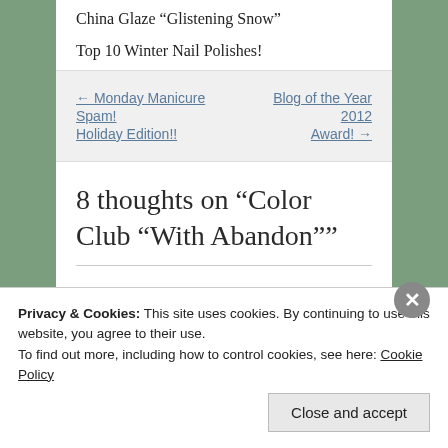China Glaze “Glistening Snow”
Top 10 Winter Nail Polishes!
← Monday Manicure Spam! Holiday Edition!!
Blog of the Year 2012 Award! →
8 thoughts on “Color Club “With Abandon””
Privacy & Cookies: This site uses cookies. By continuing to use this website, you agree to their use.
To find out more, including how to control cookies, see here: Cookie Policy
Close and accept